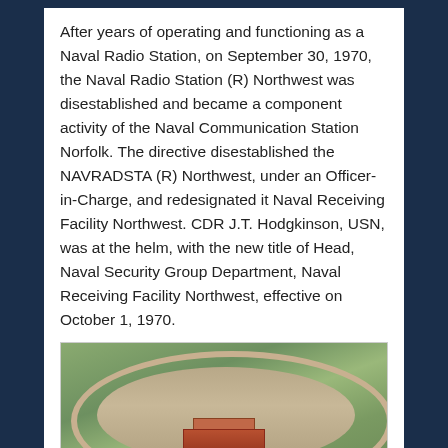After years of operating and functioning as a Naval Radio Station, on September 30, 1970, the Naval Radio Station (R) Northwest was disestablished and became a component activity of the Naval Communication Station Norfolk. The directive disestablished the NAVRADSTA (R) Northwest, under an Officer-in-Charge, and redesignated it Naval Receiving Facility Northwest. CDR J.T. Hodgkinson, USN, was at the helm, with the new title of Head, Naval Security Group Department, Naval Receiving Facility Northwest, effective on October 1, 1970.
[Figure (photo): Aerial photograph of a circular antenna array facility with a large oval fence perimeter, sandy/gravel interior ground, red brick buildings in the center, and surrounding green fields.]